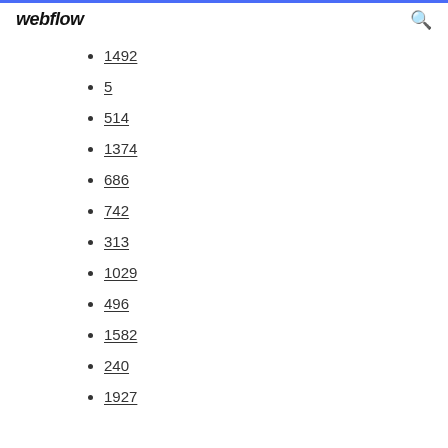webflow
1492
5
514
1374
686
742
313
1029
496
1582
240
1927